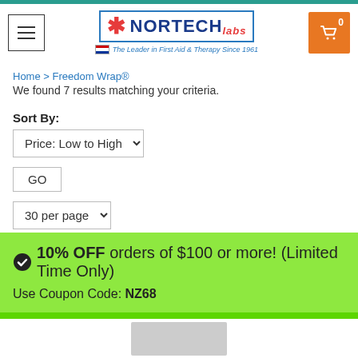[Figure (logo): Nortech Labs logo with asterisk, tagline 'The Leader in First Aid & Therapy Since 1961']
Home > Freedom Wrap®
We found 7 results matching your criteria.
Sort By:
Price: Low to High (dropdown)
GO (button)
30 per page (dropdown)
✔ 10% OFF orders of $100 or more! (Limited Time Only)
Use Coupon Code: NZ68
[Figure (photo): Partial product image at bottom of page]